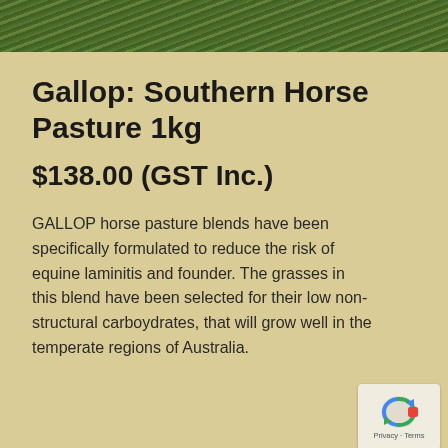[Figure (photo): Green grass/pasture photo strip at top of page]
Gallop: Southern Horse Pasture 1kg
$138.00 (GST Inc.)
GALLOP horse pasture blends have been specifically formulated to reduce the risk of equine laminitis and founder. The grasses in this blend have been selected for their low non-structural carboydrates, that will grow well in the temperate regions of Australia.